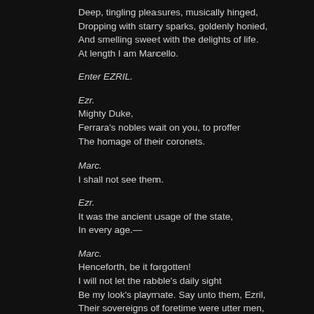Deep, tingling pleasures, musically hinged,
Dropping with starry sparks, goldenly honied,
And smelling sweet with the delights of life.
At length I am Marcello.
Enter EZRIL.
Ezr.
Mighty Duke,
Ferrara's nobles wait on you, to proffer
The homage of their coronets.
Marc.
I shall not see them.
Ezr.
It was the ancient usage of the state,
In every age.—
Marc.
Henceforth, be it forgotten!
I will not let the rabble's daily sight
Be my look's playmate. Say unto them, Ezril,
Their sovereigns of foretime were utter men,
False gods, that beat an highway in their thoughts
Before my car; idols of monarchy,
Whose forms they might behold. Now I am come,
Be it enough that they are taught my name,